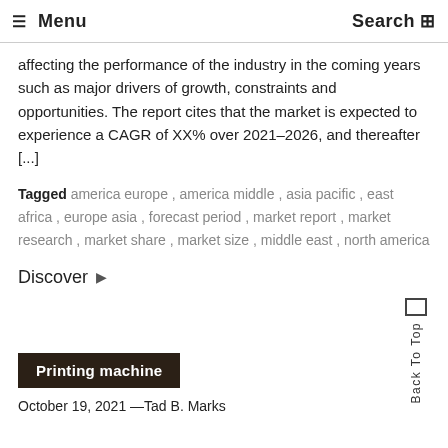☰ Menu   Search
affecting the performance of the industry in the coming years such as major drivers of growth, constraints and opportunities. The report cites that the market is expected to experience a CAGR of XX% over 2021-2026, and thereafter [...]
Tagged america europe , america middle , asia pacific , east africa , europe asia , forecast period , market report , market research , market share , market size , middle east , north america
Discover ▶
Printing machine
October 19, 2021 —Tad B. Marks